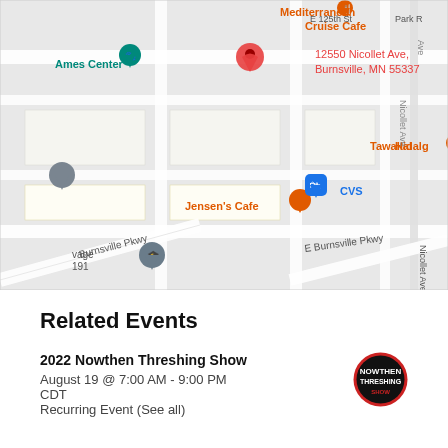[Figure (map): Google Maps screenshot showing 12550 Nicollet Ave, Burnsville, MN 55337 with nearby landmarks including Ames Center, Mediterranean Cruise Cafe, Tawakal, Hidalgo, Jensen's Cafe, CVS, and road labels for Burnsville Pkwy and E Burnsville Pkwy]
Related Events
2022 Nowthen Threshing Show
August 19 @ 7:00 AM - 9:00 PM CDT
Recurring Event (See all)